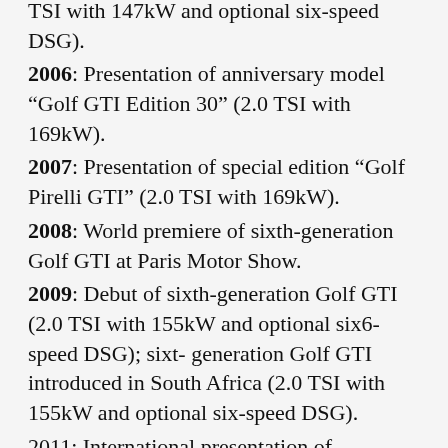TSI with 147kW and optional six-speed DSG).
2006: Presentation of anniversary model “Golf GTI Edition 30” (2.0 TSI with 169kW).
2007: Presentation of special edition “Golf Pirelli GTI” (2.0 TSI with 169kW).
2008: World premiere of sixth-generation Golf GTI at Paris Motor Show.
2009: Debut of sixth-generation Golf GTI (2.0 TSI with 155kW and optional six6-speed DSG); sixt- generation Golf GTI introduced in South Africa (2.0 TSI with 155kW and optional six-speed DSG).
2011: International presentation of anniversary model “Golf GTI Edition 35” (2.0 TSI with 173kW).
2012: “Golf GTI Edition 35” (2.0 TSI with 173kW) introduced in South Africa.
2013: Debut of seventh-generation Golf GTI (2.0 TSI with 162kW and optional six-speed DSG); seventh generation Golf